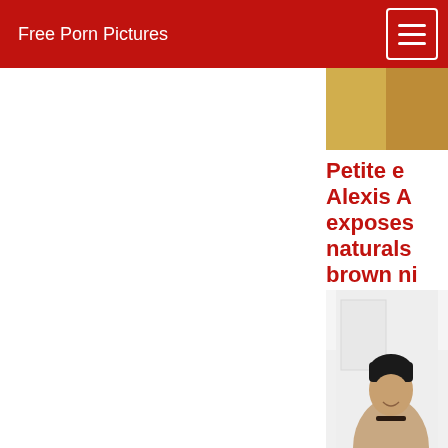Free Porn Pictures
[Figure (photo): Partial photo visible at top right, cropped]
Petite ebony Alexis A. exposes her naturals, brown nipples solo
[Figure (photo): Photo of a young Black woman with short dark hair, smiling, wearing a choker necklace and white top, standing in front of a white door]